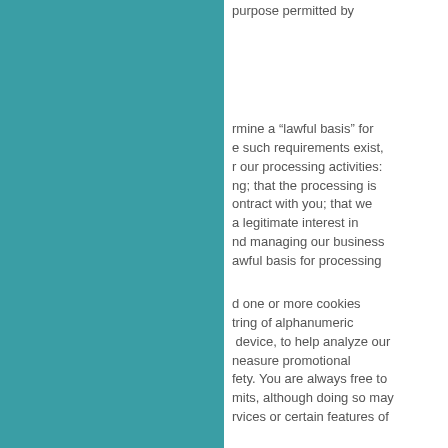purpose permitted by
rmine a “lawful basis” for e such requirements exist, r our processing activities: ng; that the processing is ontract with you; that we a legitimate interest in nd managing our business awful basis for processing
d one or more cookies tring of alphanumeric device, to help analyze our neasure promotional fety. You are always free to mits, although doing so may rvices or certain features of